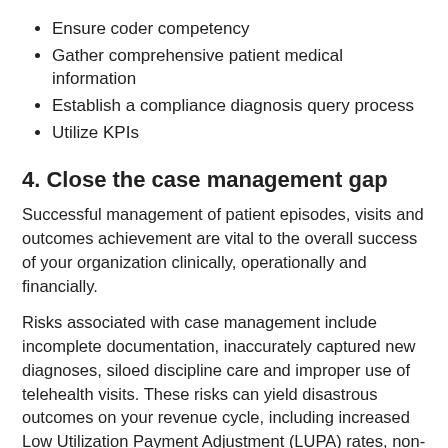Ensure coder competency
Gather comprehensive patient medical information
Establish a compliance diagnosis query process
Utilize KPIs
4. Close the case management gap
Successful management of patient episodes, visits and outcomes achievement are vital to the overall success of your organization clinically, operationally and financially.
Risks associated with case management include incomplete documentation, inaccurately captured new diagnoses, siloed discipline care and improper use of telehealth visits. These risks can yield disastrous outcomes on your revenue cycle, including increased Low Utilization Payment Adjustment (LUPA) rates, non-compliance and denials.
How to mitigate these risks